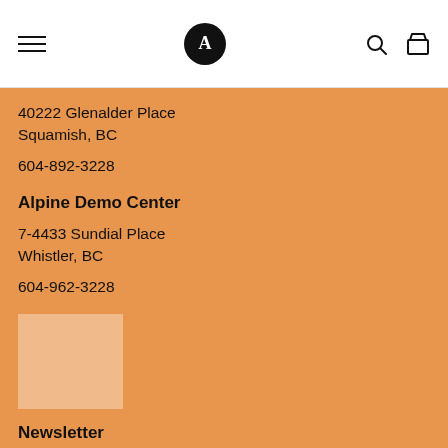A
40222 Glenalder Place
Squamish, BC
604-892-3228
Alpine Demo Center
7-4433 Sundial Place
Whistler, BC
604-962-3228
[Figure (other): Small placeholder image square]
Newsletter